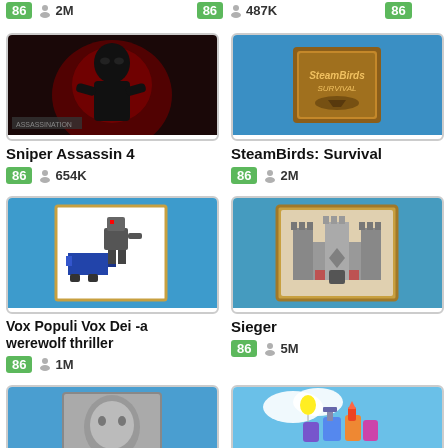[Figure (screenshot): Game listing page showing game cards with thumbnails, scores, and play counts. Partial top row shows scores 86, 2M and 86, 487K. Second row: Sniper Assassin 4 (86, 654K), SteamBirds: Survival (86, 2M), Abdu... (partial). Third row: Vox Populi Vox Dei - a werewolf thriller (86, 1M), Sieger (86, 5M), Rawr... (partial). Bottom row: three more partial game thumbnails.]